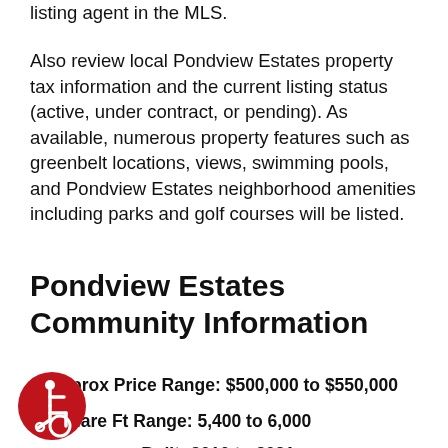listing agent in the MLS.
Also review local Pondview Estates property tax information and the current listing status (active, under contract, or pending). As available, numerous property features such as greenbelt locations, views, swimming pools, and Pondview Estates neighborhood amenities including parks and golf courses will be listed.
Pondview Estates Community Information
Approx Price Range: $500,000 to $550,000
Square Ft Range: 5,400 to 6,000
Year Built: 2010 to 2021